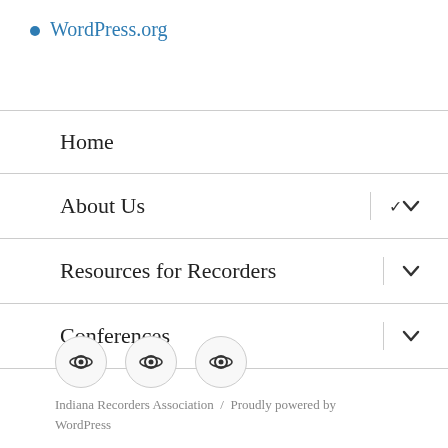WordPress.org
Home
About Us
Resources for Recorders
Conferences
[Figure (other): Three circular social media icon buttons with a camera/record icon symbol inside each]
Indiana Recorders Association  /  Proudly powered by WordPress